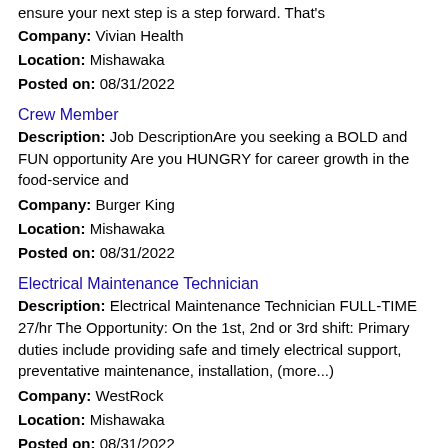ensure your next step is a step forward. That's
Company: Vivian Health
Location: Mishawaka
Posted on: 08/31/2022
Crew Member
Description: Job DescriptionAre you seeking a BOLD and FUN opportunity Are you HUNGRY for career growth in the food-service and
Company: Burger King
Location: Mishawaka
Posted on: 08/31/2022
Electrical Maintenance Technician
Description: Electrical Maintenance Technician FULL-TIME 27/hr The Opportunity: On the 1st, 2nd or 3rd shift: Primary duties include providing safe and timely electrical support, preventative maintenance, installation, (more...)
Company: WestRock
Location: Mishawaka
Posted on: 08/31/2022
Salary in Schaumburg, Illinois Area | More details for Schaumburg, Illinois Jobs |Salary